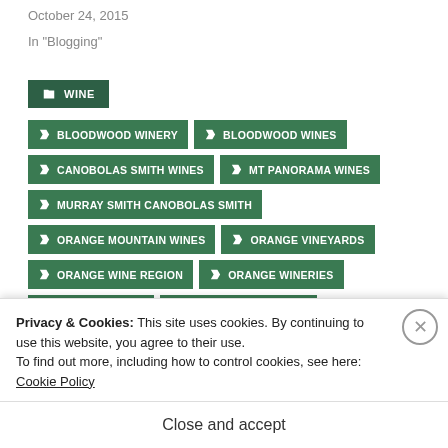October 24, 2015
In "Blogging"
WINE
BLOODWOOD WINERY
BLOODWOOD WINES
CANOBOLAS SMITH WINES
MT PANORAMA WINES
MURRAY SMITH CANOBOLAS SMITH
ORANGE MOUNTAIN WINES
ORANGE VINEYARDS
ORANGE WINE REGION
ORANGE WINERIES
ORANGE WINES
ROSS HILL PINNACLE
Privacy & Cookies: This site uses cookies. By continuing to use this website, you agree to their use. To find out more, including how to control cookies, see here: Cookie Policy
Close and accept